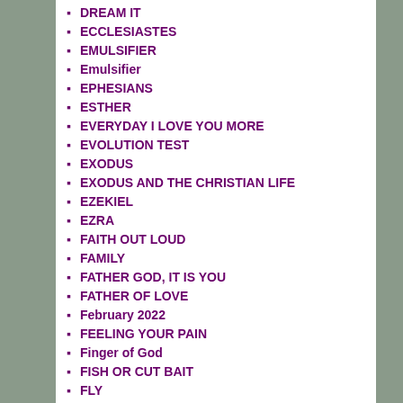DREAM IT
ECCLESIASTES
EMULSIFIER
Emulsifier
EPHESIANS
ESTHER
EVERYDAY I LOVE YOU MORE
EVOLUTION TEST
EXODUS
EXODUS AND THE CHRISTIAN LIFE
EZEKIEL
EZRA
FAITH OUT LOUD
FAMILY
FATHER GOD, IT IS YOU
FATHER OF LOVE
February 2022
FEELING YOUR PAIN
Finger of God
FISH OR CUT BAIT
FLY